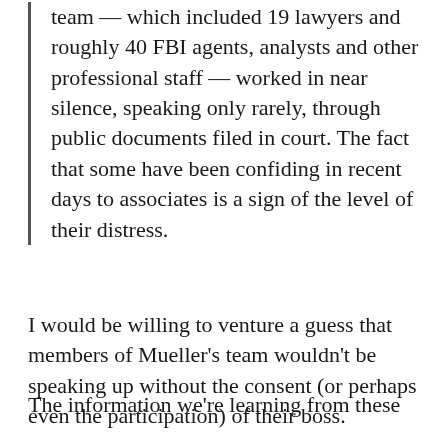team — which included 19 lawyers and roughly 40 FBI agents, analysts and other professional staff — worked in near silence, speaking only rarely, through public documents filed in court. The fact that some have been confiding in recent days to associates is a sign of the level of their distress.
I would be willing to venture a guess that members of Mueller's team wouldn't be speaking up without the consent (or perhaps even the participation) of their boss.
The information we're learning from these